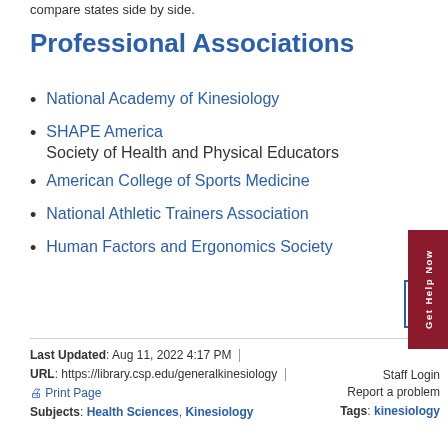compare states side by side.
Professional Associations
National Academy of Kinesiology
SHAPE America
Society of Health and Physical Educators
American College of Sports Medicine
National Athletic Trainers Association
Human Factors and Ergonomics Society
Last Updated: Aug 11, 2022 4:17 PM | URL: https://library.csp.edu/generalkinesiology
Print Page | Staff Login | Report a problem
Subjects: Health Sciences, Kinesiology | Tags: kinesiology